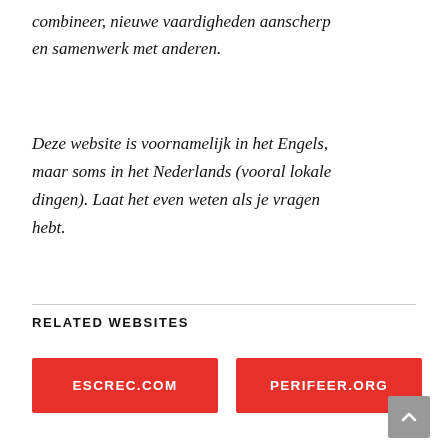combineer, nieuwe vaardigheden aanscherp en samenwerk met anderen.
Deze website is voornamelijk in het Engels, maar soms in het Nederlands (vooral lokale dingen). Laat het even weten als je vragen hebt.
RELATED WEBSITES
ESCREC.COM
PERIFEER.ORG